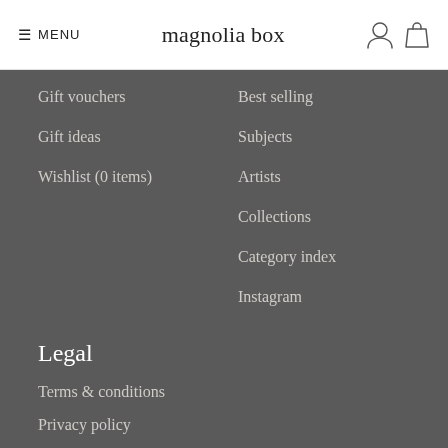≡ MENU | magnolia box
Gift vouchers
Gift ideas
Wishlist (0 items)
Best selling
Subjects
Artists
Collections
Category index
Instagram
Legal
Terms & conditions
Privacy policy
Terms of use
Data breach policy
Copyright
Discl...